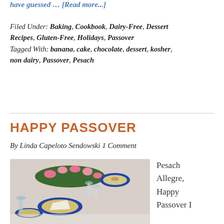have guessed … [Read more...]
Filed Under: Baking, Cookbook, Dairy-Free, Dessert Recipes, Gluten-Free, Holidays, Passover Tagged With: banana, cake, chocolate, dessert, kosher, non dairy, Passover, Pesach
HAPPY PASSOVER
By Linda Capeloto Sendowski 1 Comment
[Figure (photo): A Passover seder table set with white tablecloth, blue-rimmed plates, crystal glasses, and floral centerpiece]
Pesach Allegre, Happy Passover I